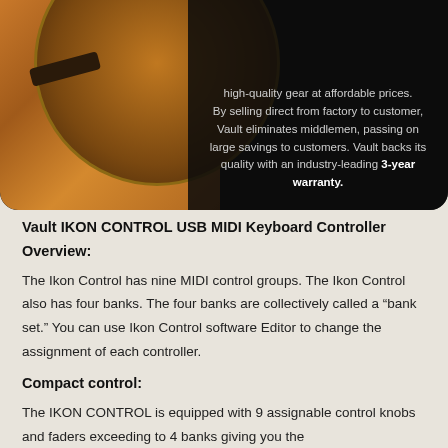[Figure (photo): Dark banner with a guitar image on the left (wood grain texture, acoustic guitar body visible) and promotional text on the right on a dark background.]
high-quality gear at affordable prices. By selling direct from factory to customer, Vault eliminates middlemen, passing on large savings to customers. Vault backs its quality with an industry-leading 3-year warranty.
Vault IKON CONTROL USB MIDI Keyboard Controller
Overview:
The Ikon Control has nine MIDI control groups. The Ikon Control also has four banks. The four banks are collectively called a “bank set.” You can use Ikon Control software Editor to change the assignment of each controller.
Compact control:
The IKON CONTROL is equipped with 9 assignable control knobs and faders exceeding to 4 banks giving you the